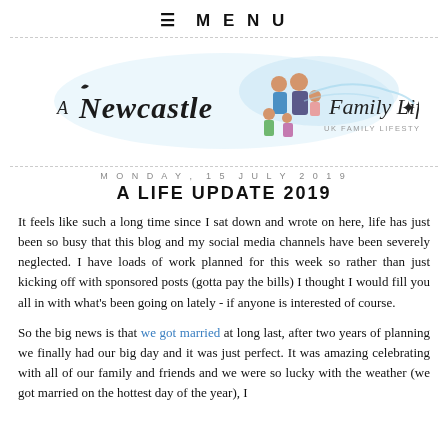≡ MENU
[Figure (logo): A Newcastle Family Life blog logo with illustrated family and decorative text]
MONDAY, 15 JULY 2019
A LIFE UPDATE 2019
It feels like such a long time since I sat down and wrote on here, life has just been so busy that this blog and my social media channels have been severely neglected. I have loads of work planned for this week so rather than just kicking off with sponsored posts (gotta pay the bills) I thought I would fill you all in with what's been going on lately - if anyone is interested of course.
So the big news is that we got married at long last, after two years of planning we finally had our big day and it was just perfect. It was amazing celebrating with all of our family and friends and we were so lucky with the weather (we got married on the hottest day of the year), I